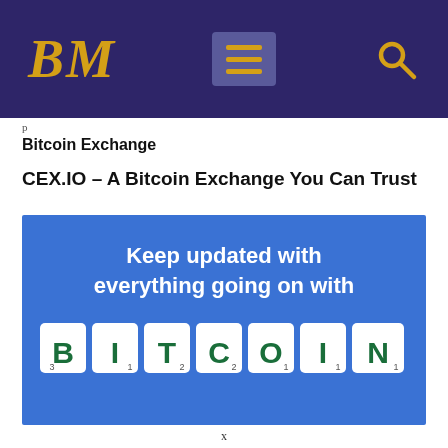BM [menu] [search]
Bitcoin Exchange
CEX.IO – A Bitcoin Exchange You Can Trust
[Figure (photo): Blue background image with Scrabble tiles spelling BITCOIN and white text reading 'Keep updated with everything going on with']
x